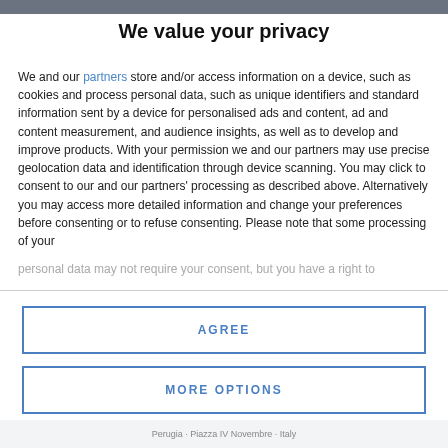We value your privacy
We and our partners store and/or access information on a device, such as cookies and process personal data, such as unique identifiers and standard information sent by a device for personalised ads and content, ad and content measurement, and audience insights, as well as to develop and improve products. With your permission we and our partners may use precise geolocation data and identification through device scanning. You may click to consent to our and our partners' processing as described above. Alternatively you may access more detailed information and change your preferences before consenting or to refuse consenting. Please note that some processing of your personal data may not require your consent, but you have a right to
AGREE
MORE OPTIONS
Perugia · Piazza IV Novembre · Italy